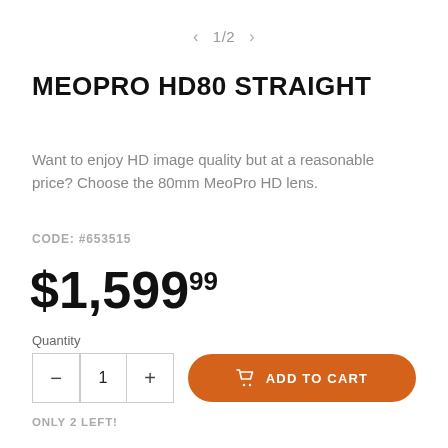< 1/2 >
MEOPRO HD80 STRAIGHT
Want to enjoy HD image quality but at a reasonable price? Choose the 80mm MeoPro HD lens.
CODE: #653515
$1,599.99
Quantity
- 1 + ADD TO CART
ONLY 2 LEFT!